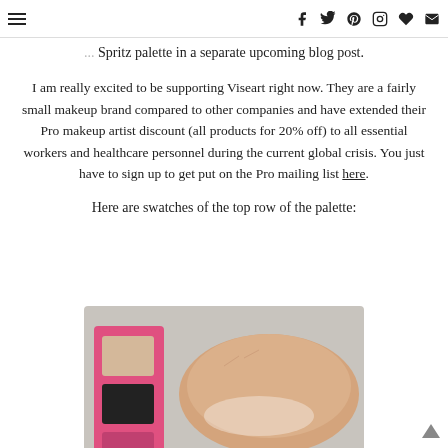[menu icon] [facebook] [twitter] [pinterest] [instagram] [heart] [email]
Spritz palette in a separate upcoming blog post.
I am really excited to be supporting Viseart right now. They are a fairly small makeup brand compared to other companies and have extended their Pro makeup artist discount (all products for 20% off) to all essential workers and healthcare personnel during the current global crisis. You just have to sign up to get put on the Pro mailing list here.
Here are swatches of the top row of the palette:
[Figure (photo): A hand/wrist with makeup swatches shown next to a pink palette compact, on a light gray background.]